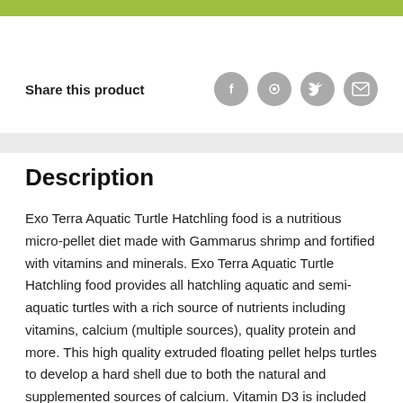[Figure (other): Green banner bar at top of page]
Share this product
[Figure (other): Social media icons: Facebook, Pinterest, Twitter, Email]
Description
Exo Terra Aquatic Turtle Hatchling food is a nutritious micro-pellet diet made with Gammarus shrimp and fortified with vitamins and minerals. Exo Terra Aquatic Turtle Hatchling food provides all hatchling aquatic and semi-aquatic turtles with a rich source of nutrients including vitamins, calcium (multiple sources), quality protein and more. This high quality extruded floating pellet helps turtles to develop a hard shell due to both the natural and supplemented sources of calcium. Vitamin D3 is included and essential in ensuring the proper absorption of